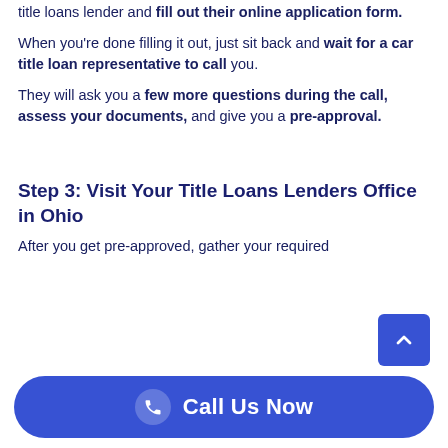title loans lender and fill out their online application form.
When you're done filling it out, just sit back and wait for a car title loan representative to call you.
They will ask you a few more questions during the call, assess your documents, and give you a pre-approval.
Step 3: Visit Your Title Loans Lenders Office in Ohio
After you get pre-approved, gather your required...